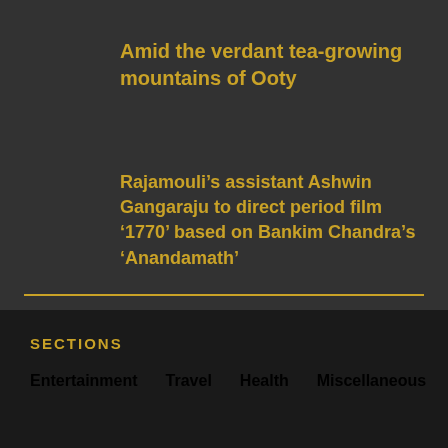Amid the verdant tea-growing mountains of Ooty
Rajamouli’s assistant Ashwin Gangaraju to direct period film ‘1770’ based on Bankim Chandra’s ‘Anandamath’
SECTIONS
Entertainment
Travel
Health
Miscellaneous